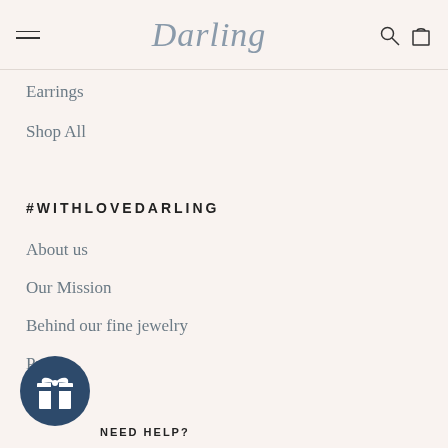Darling (logo) with hamburger menu, search, and bag icons
Earrings
Shop All
#WITHLOVEDARLING
About us
Our Mission
Behind our fine jewelry
Press
Blog
[Figure (illustration): Dark blue circular button with gift box icon]
NEED HELP?